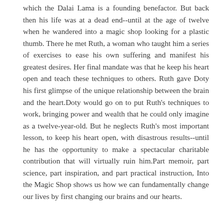which the Dalai Lama is a founding benefactor. But back then his life was at a dead end--until at the age of twelve when he wandered into a magic shop looking for a plastic thumb. There he met Ruth, a woman who taught him a series of exercises to ease his own suffering and manifest his greatest desires. Her final mandate was that he keep his heart open and teach these techniques to others. Ruth gave Doty his first glimpse of the unique relationship between the brain and the heart.Doty would go on to put Ruth's techniques to work, bringing power and wealth that he could only imagine as a twelve-year-old. But he neglects Ruth's most important lesson, to keep his heart open, with disastrous results--until he has the opportunity to make a spectacular charitable contribution that will virtually ruin him.Part memoir, part science, part inspiration, and part practical instruction, Into the Magic Shop shows us how we can fundamentally change our lives by first changing our brains and our hearts.